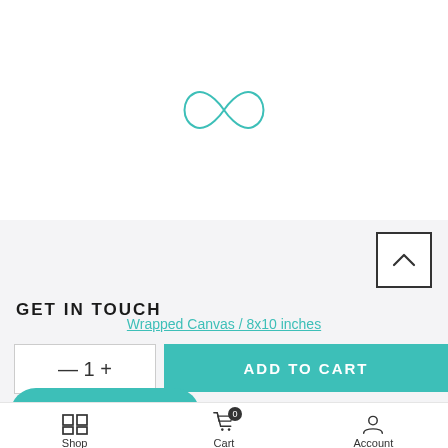[Figure (logo): Teal/green infinity-like logo symbol centered on white background]
[Figure (other): Scroll-to-top button with upward chevron, bordered square]
GET IN TOUCH
Wrapped Canvas / 8x10 inches
ADD TO CART
Chat with us
Shop  Cart  Account